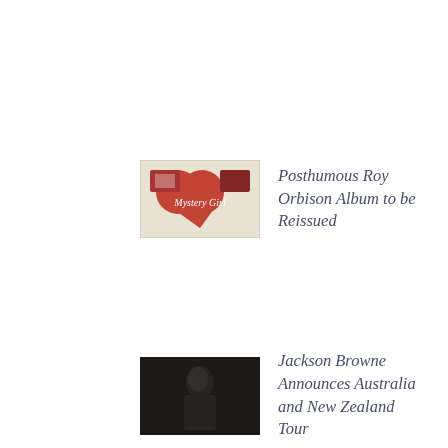[Figure (photo): Thumbnail image of Roy Orbison album cover with red hearts and decorative design]
Posthumous Roy Orbison Album to be Reissued
[Figure (photo): Dark thumbnail photo of Jackson Browne]
Jackson Browne Announces Australia and New Zealand Tour
Archive
August 2022
July 2022
June 2022
May 2022